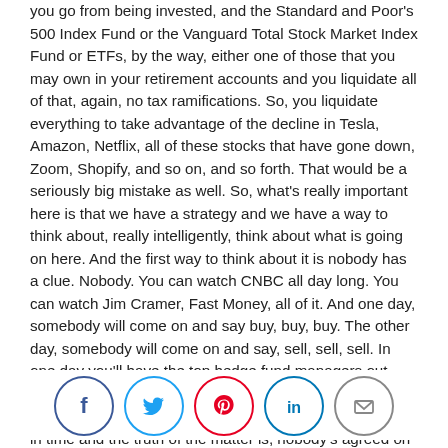you go from being invested, and the Standard and Poor's 500 Index Fund or the Vanguard Total Stock Market Index Fund or ETFs, by the way, either one of those that you may own in your retirement accounts and you liquidate all of that, again, no tax ramifications. So, you liquidate everything to take advantage of the decline in Tesla, Amazon, Netflix, all of these stocks that have gone down, Zoom, Shopify, and so on, and so forth. That would be a seriously big mistake as well. So, what's really important here is that we have a strategy and we have a way to think about, really intelligently, think about what is going on here. And the first way to think about it is nobody has a clue. Nobody. You can watch CNBC all day long. You can watch Jim Cramer, Fast Money, all of it. And one day, somebody will come on and say buy, buy, buy. The other day, somebody will come on and say, sell, sell, sell. In one day you'll have the top hedge fund managers out there, all disagreeing with what should be done. You cannot find consensus at all about what to do at this point in time and the truth of the matter is, nobody's agreed on what to do since the virus hit. Nobody. So when you don't know what to do, I think you always do a little bit of everything because you don't know, will the technology stocks or the COVID stocks, as they call them, will they rebound and go straight back up again? Maybe yes, maybe no. Will other stocks now that really haven't had much movement, will they start to move because, you know, they were totally overlooked with
[Figure (infographic): Social sharing icons: Facebook (blue circle), Twitter (light blue circle), Pinterest (red circle), LinkedIn (blue circle), Email (grey circle)]